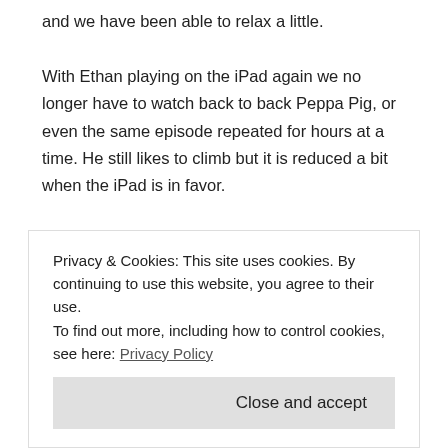and we have been able to relax a little.
With Ethan playing on the iPad again we no longer have to watch back to back Peppa Pig, or even the same episode repeated for hours at a time. He still likes to climb but it is reduced a bit when the iPad is in favor.
This has made us all relax a bit more this week and it has been one of the more enjoyable weeks of the summer holidays for all of us.
It has been another busy week with visits to Clarks for new shows for both children and we even ended up going to the Clacton Air
Privacy & Cookies: This site uses cookies. By continuing to use this website, you agree to their use.
To find out more, including how to control cookies, see here: Privacy Policy
Close and accept